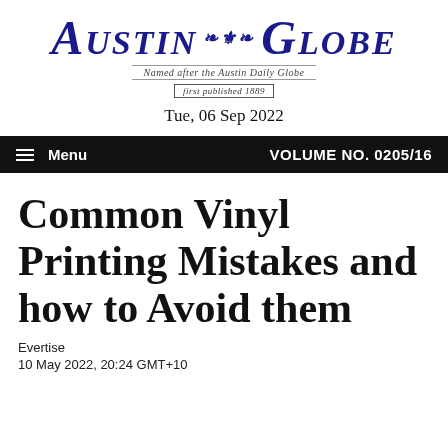AUSTIN GLOBE — Named after the Austin Daily Globe — first published 1889
Tue, 06 Sep 2022
Menu   VOLUME NO. 0205/16
Common Vinyl Printing Mistakes and how to Avoid them
Evertise
10 May 2022, 20:24 GMT+10